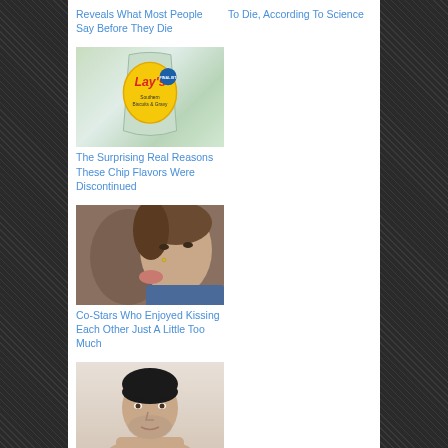Reveals What Most People Say Before They Die
To Die, According To Science
[Figure (photo): A bag of Lay's Southern Biscuits & Gravy flavored potato chips]
The Surprising Real Reasons These Chip Flavors Were Discontinued
[Figure (photo): Two co-stars kissing closely, one with dark hair and a ring visible, the other in a blue shirt]
Co-Stars Who Enjoyed Kissing Each Other Just A Little Too Much
[Figure (photo): A shirtless male model with dark hair and beard, light background]
[Figure (photo): An NFL coach wearing a teal Miami Dolphins cap and a Bose headset microphone, looking serious]